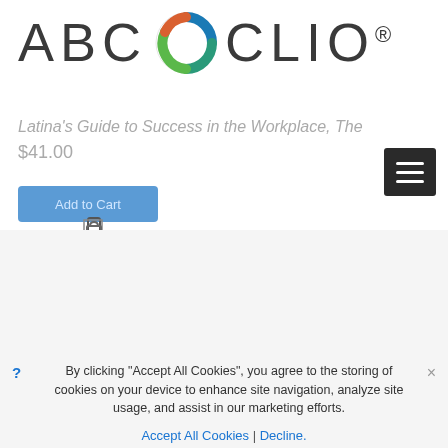[Figure (logo): ABC CLIO logo with circular icon featuring blue, green, and orange design — large version at top]
Latina's Guide to Success in the Workplace, The
$41.00
[Figure (screenshot): Hamburger menu button (dark gray rectangle with three white horizontal lines)]
[Figure (screenshot): Add to Cart button (blue rectangle) with cart icon below]
[Figure (logo): ABC CLIO logo — smaller version at bottom of page]
[Figure (screenshot): Accessibility button (blue square with person icon)]
© 2021 ABC-CLIO, LLC.
147 Castilian Drive, Santa Barbara, CA 93117
By clicking "Accept All Cookies", you agree to the storing of cookies on your device to enhance site navigation, analyze site usage, and assist in our marketing efforts.
Accept All Cookies | Decline.